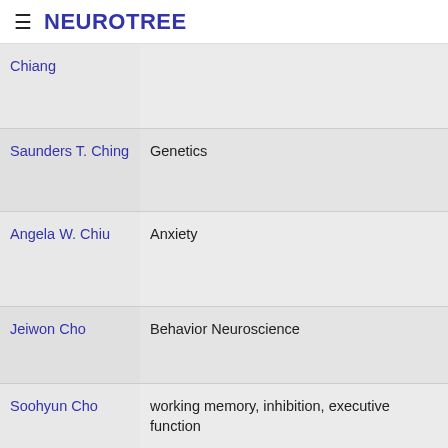≡ NEUROTREE
| Name | Field |
| --- | --- |
| Chiang |  |
| Saunders T. Ching | Genetics |
| Angela W. Chiu | Anxiety |
| Jeiwon Cho | Behavior Neuroscience |
| Soohyun Cho | working memory, inhibition, executive function |
| Jessica Choe |  |